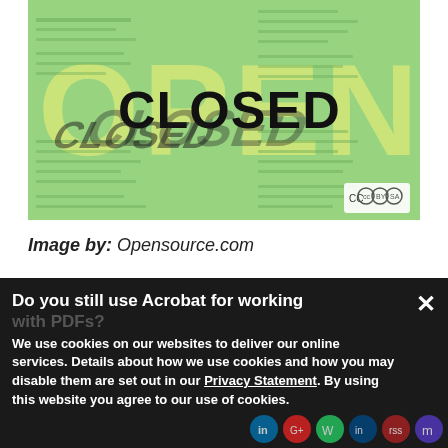[Figure (photo): Photo of 3D black CLOSED letters standing on a green document background with large yellow OPEN text visible behind, with a Creative Commons BY-SA license badge in the bottom right corner.]
Image by: Opensource.com
Do you still use Acrobat for working with PDFs?
We use cookies on our websites to deliver our online services. Details about how we use cookies and how you may disable them are set out in our Privacy Statement. By using this website you agree to our use of cookies.